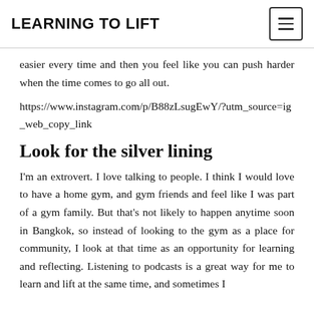LEARNING TO LIFT
easier every time and then you feel like you can push harder when the time comes to go all out.
https://www.instagram.com/p/B88zLsugEwY/?utm_source=ig_web_copy_link
Look for the silver lining
I'm an extrovert. I love talking to people. I think I would love to have a home gym, and gym friends and feel like I was part of a gym family. But that's not likely to happen anytime soon in Bangkok, so instead of looking to the gym as a place for community, I look at that time as an opportunity for learning and reflecting. Listening to podcasts is a great way for me to learn and lift at the same time, and sometimes I